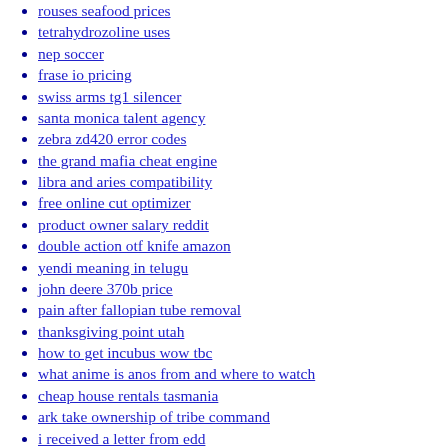rouses seafood prices
tetrahydrozoline uses
nep soccer
frase io pricing
swiss arms tg1 silencer
santa monica talent agency
zebra zd420 error codes
the grand mafia cheat engine
libra and aries compatibility
free online cut optimizer
product owner salary reddit
double action otf knife amazon
yendi meaning in telugu
john deere 370b price
pain after fallopian tube removal
thanksgiving point utah
how to get incubus wow tbc
what anime is anos from and where to watch
cheap house rentals tasmania
ark take ownership of tribe command
i received a letter from edd
python missing characters hackerrank solution github
kitchen accent cabinet
bristan thermostatic shower valve cartridge replacement
double wide mobile homes for rent